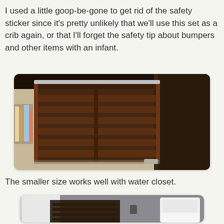I used a little goop-be-gone to get rid of the safety sticker since it's pretty unlikely that we'll use this set as a crib again, or that I'll forget the safety tip about bumpers and other items with an infant.
[Figure (photo): A dark wood crib side/rail panel leaning against a dark dresser on a light wood floor, photographed from above and to the side.]
The smaller size works well with water closet.
[Figure (photo): A bathroom with dark crib rail/gate piece in foreground, white toilet and grey walls visible in background.]